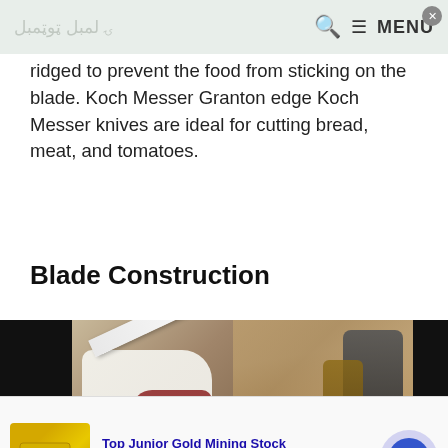≡ MENU
ridged to prevent the food from sticking on the blade. Koch Messer Granton edge Koch Messer knives are ideal for cutting bread, meat, and tomatoes.
Blade Construction
[Figure (photo): Photo showing a knife blade alongside shoes and other objects on a wooden surface]
[Figure (infographic): Advertisement banner: Top Junior Gold Mining Stock. Get access to the next top mining Micro Cap here! www.rivres.com. Image of gold bars on left, blue circular arrow button on right.]